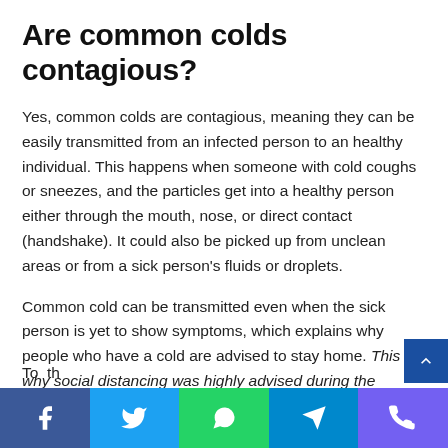Are common colds contagious?
Yes, common colds are contagious, meaning they can be easily transmitted from an infected person to an healthy individual. This happens when someone with cold coughs or sneezes, and the particles get into a healthy person either through the mouth, nose, or direct contact (handshake). It could also be picked up from unclean areas or from a sick person's fluids or droplets.
Common cold can be transmitted even when the sick person is yet to show symptoms, which explains why people who have a cold are advised to stay home. This is why social distancing was highly advised during the pandemic.
Social share bar: Facebook, Twitter, WhatsApp, Telegram, Viber